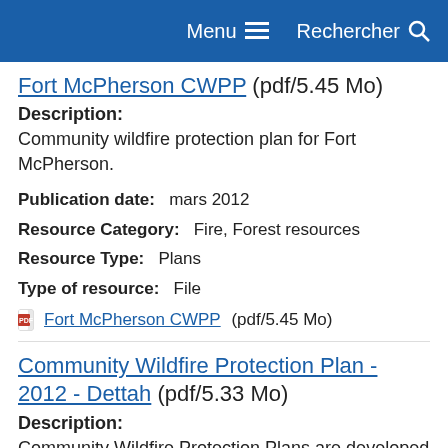Menu  Rechercher
Fort McPherson CWPP (pdf/5.45 Mo)
Description:
Community wildfire protection plan for Fort McPherson.
Publication date:   mars 2012
Resource Category:   Fire, Forest resources
Resource Type:   Plans
Type of resource:   File
Fort McPherson CWPP (pdf/5.45 Mo)
Community Wildfire Protection Plan - 2012 - Dettah (pdf/5.33 Mo)
Description:
Community Wildfire Protection Plans are developed to provide practical and operational wildland/urban interface risk mitigation strategies to reduce the threat of wildfire to developments within the community.